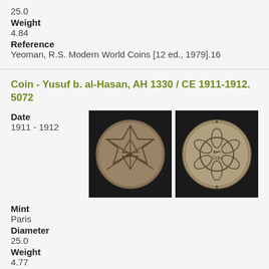25.0
Weight
4.84
Reference
Yeoman, R.S. Modern World Coins [12 ed., 1979].16
Coin - Yusuf b. al-Hasan, AH 1330 / CE 1911-1912. 5072
Date
1911 - 1912
[Figure (photo): Obverse of Moroccan coin showing six-pointed star (Star of David) pattern with Arabic inscription in center, dark background]
[Figure (photo): Reverse of Moroccan coin showing ornate geometric pattern with Arabic inscription and date 1330, dark background]
Mint
Paris
Diameter
25.0
Weight
4.77
Reference